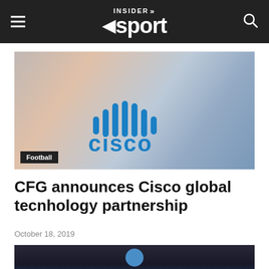INSIDER sport
[Figure (photo): Cisco logo on a wall with blueish-orange lighting, with a 'Football' badge overlay in the bottom left]
CFG announces Cisco global tecnhology partnership
October 18, 2019
[Figure (photo): Etihad Stadium exterior with Manchester City badge visible]